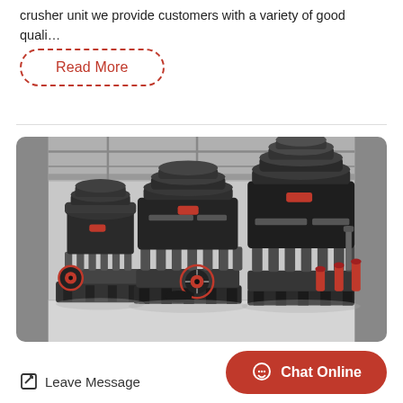crusher unit we provide customers with a variety of good quali…
[Figure (other): Red dashed rounded rectangle button labeled 'Read More']
[Figure (photo): Industrial cone crusher machines in a factory/warehouse setting. Two large black cone crushers with red accents (wheels, bolts, springs) on metal frames, on a concrete floor under a metal roof structure.]
Leave Message
Chat Online